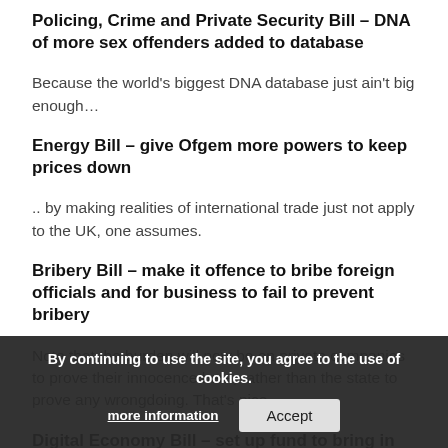Policing, Crime and Private Security Bill – DNA of more sex offenders added to database
Because the world's biggest DNA database just ain't big enough…
Energy Bill – give Ofgem more powers to keep prices down
.. by making realities of international trade just not apply to the UK, one assumes.
Bribery Bill – make it offence to bribe foreign officials and for business to fail to prevent bribery
Note that the burden will now be on private companies to prove their innocence here, rather than the state to prove any wrongdoing. That's nice.
Digital Economy Bill – set up fund to bring in universal broadband by 2012
Things that the government doesn't understand: most of the people who don't have broadband already don't want it Leave them alone.